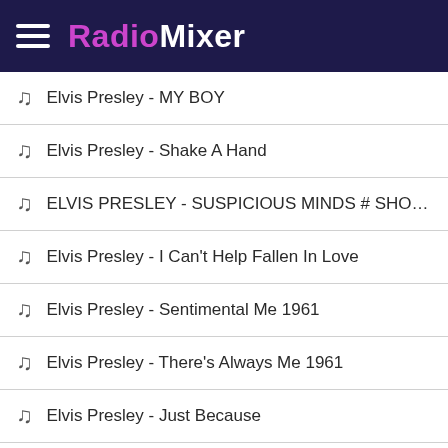RadioMixer
Elvis Presley - MY BOY
Elvis Presley - Shake A Hand
ELVIS PRESLEY - SUSPICIOUS MINDS # SHORT ...
Elvis Presley - I Can't Help Fallen In Love
Elvis Presley - Sentimental Me 1961
Elvis Presley - There's Always Me 1961
Elvis Presley - Just Because
ELVIS PRESLEY - IF WE NEVER MEET AGAIN with...
Elvis Presley - I Need Somebody to Lean On